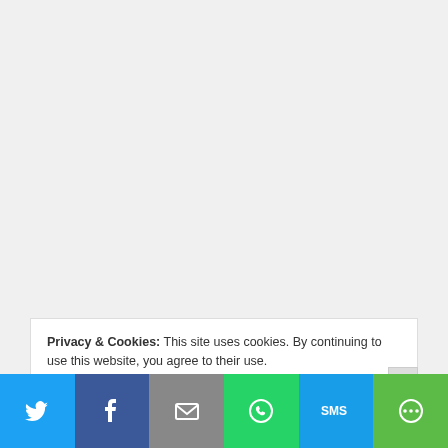Privacy & Cookies: This site uses cookies. By continuing to use this website, you agree to their use.
To find out more, including how to control cookies, see here: Cookie Policy
[Figure (infographic): Social share bar with Twitter, Facebook, Email, WhatsApp, SMS, and More buttons at the bottom of the page]